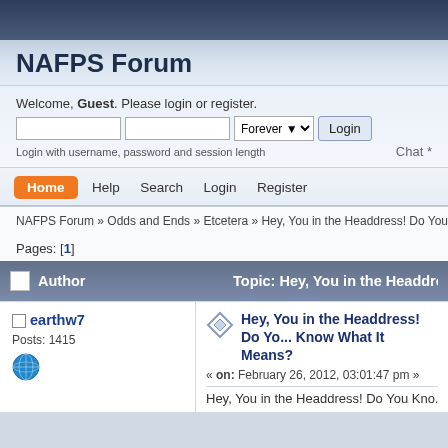NAFPS Forum
Welcome, Guest. Please login or register.
Login with username, password and session length
Chat *
Home
Help
Search
Login
Register
NAFPS Forum » Odds and Ends » Etcetera » Hey, You in the Headdress! Do You Know...
Pages: [1]
| Author | Topic: Hey, You in the Headdres... |
| --- | --- |
| earthw7
Posts: 1415 | Hey, You in the Headdress! Do You Know What It Means?
« on: February 26, 2012, 03:01:47 pm »
Hey, You in the Headdress! Do You Kno... |
Hey, You in the Headdress! Do You Kno...